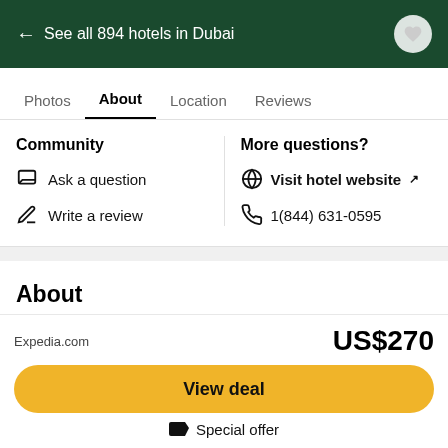← See all 894 hotels in Dubai
Photos  About  Location  Reviews
Community
Ask a question
Write a review
More questions?
Visit hotel website ↗
1(844) 631-0595
About
4.5  Excellent
Expedia.com
US$270
View deal
Special offer